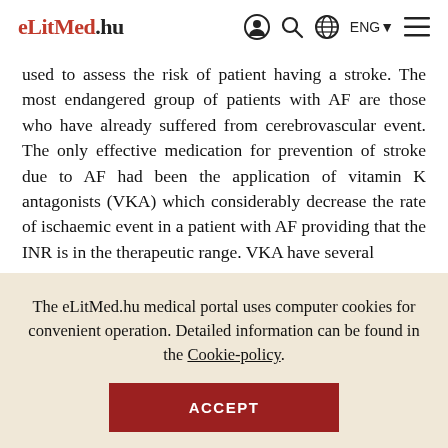eLitMed.hu — ENG navigation header
used to assess the risk of patient having a stroke. The most endangered group of patients with AF are those who have already suffered from cerebrovascular event. The only effective medication for prevention of stroke due to AF had been the application of vitamin K antagonists (VKA) which considerably decrease the rate of ischaemic event in a patient with AF providing that the INR is in the therapeutic range. VKA have several
The eLitMed.hu medical portal uses computer cookies for convenient operation. Detailed information can be found in the Cookie-policy. ACCEPT